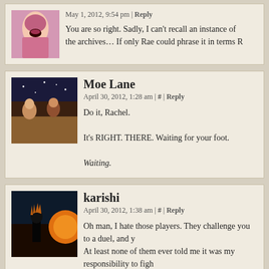May 1, 2012, 9:54 pm | Reply
You are so right. Sadly, I can't recall an instance of the archives... If only Rae could phrase it in terms R
Moe Lane
April 30, 2012, 1:28 am | # | Reply
Do it, Rachel.
It's RIGHT. THERE. Waiting for your foot.
Waiting.
karishi
April 30, 2012, 1:38 am | # | Reply
Oh man, I hate those players. They challenge you to a duel, and y... At least none of them ever told me it was my responsibility to figh... how I'd have responded to that.
Centuriancode
April 30, 2012, 4:36 am | Reply
Excommunication?